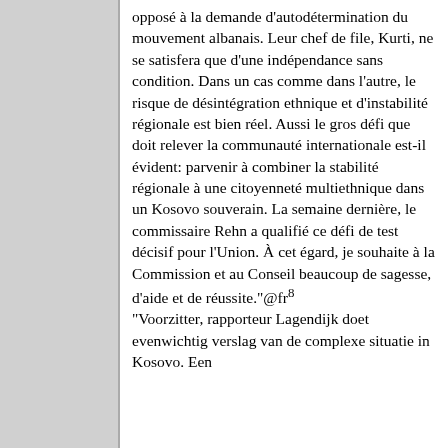opposé à la demande d'autodétermination du mouvement albanais. Leur chef de file, Kurti, ne se satisfera que d'une indépendance sans condition. Dans un cas comme dans l'autre, le risque de désintégration ethnique et d'instabilité régionale est bien réel. Aussi le gros défi que doit relever la communauté internationale est-il évident: parvenir à combiner la stabilité régionale à une citoyenneté multiethnique dans un Kosovo souverain. La semaine dernière, le commissaire Rehn a qualifié ce défi de test décisif pour l'Union. À cet égard, je souhaite à la Commission et au Conseil beaucoup de sagesse, d'aide et de réussite."@fr⁸
"Voorzitter, rapporteur Lagendijk doet evenwichtig verslag van de complexe situatie in Kosovo. Een